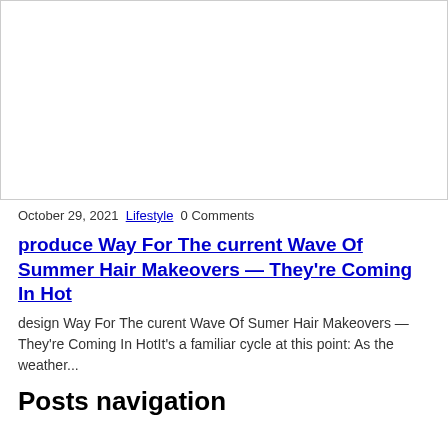[Figure (photo): White/blank image placeholder area with a border]
October 29, 2021 Lifestyle 0 Comments
produce Way For The current Wave Of Summer Hair Makeovers — They're Coming In Hot
design Way For The curent Wave Of Sumer Hair Makeovers — They're Coming In HotIt's a familiar cycle at this point: As the weather...
Posts navigation